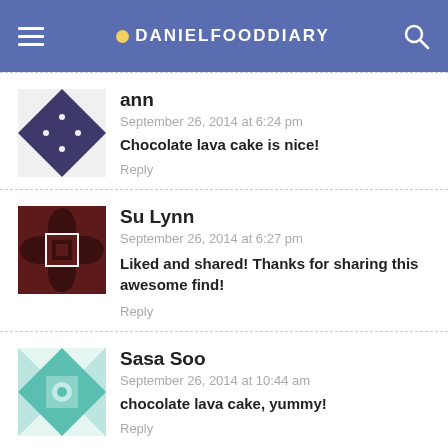DANIELFOODDIARY
ann
September 26, 2014 at 6:24 pm
Chocolate lava cake is nice!
Reply
Su Lynn
September 26, 2014 at 6:27 pm
Liked and shared! Thanks for sharing this awesome find!
Reply
Sasa Soo
September 26, 2014 at 10:44 am
chocolate lava cake, yummy!
Reply